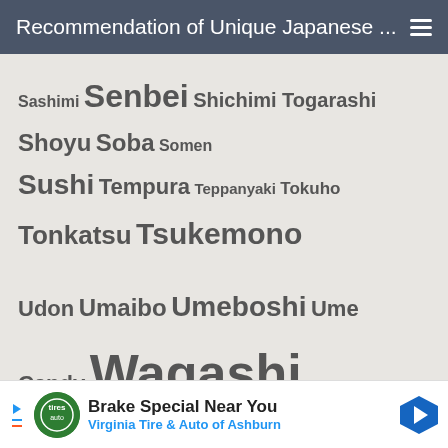Recommendation of Unique Japanese ...
Sashimi Senbei Shichimi Togarashi Shoyu Soba Somen Sushi Tempura Teppanyaki Tokuho Tonkatsu Tsukemono Udon Umaibo Umeboshi Ume Candy Wagashi Yakiniku Yakisoba Yokan
MORE
Privacy & Cookies: This site uses cookies. By continuing to use this website, you agree to their use.
To find out more, including how to control cookies, see here: Cookie Policy
[Figure (infographic): Advertisement banner: Brake Special Near You - Virginia Tire & Auto of Ashburn]